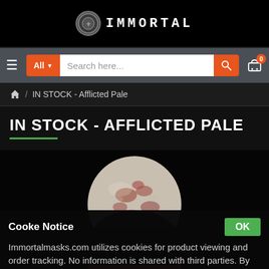IMMORTAL
All  Search here...  0
/ IN STOCK - Afflicted Pale
IN STOCK - AFFLICTED PALE
[Figure (photo): Product image of a pale afflicted mask/prop - a textured spherical object with mottled white and red coloring against a black background]
Cooke Notice
Immortalmasks.com utilizes cookies for product viewing and order tracking. No information is shared with third parties. By continuing to use our site you agree to this cookie use.
OK
ADD TO CART